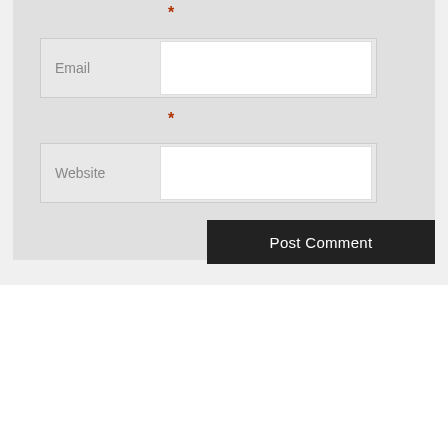[Figure (screenshot): Web form with Email and Website fields, red asterisks indicating required fields, and a Post Comment button on dark background]
TEST
test
TEST 2
test 2